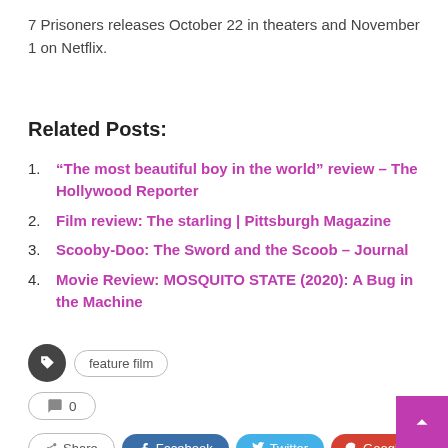7 Prisoners releases October 22 in theaters and November 1 on Netflix.
Related Posts:
“The most beautiful boy in the world” review – The Hollywood Reporter
Film review: The starling | Pittsburgh Magazine
Scooby-Doo: The Sword and the Scoob – Journal
Movie Review: MOSQUITO STATE (2020): A Bug in the Machine
feature film
0
Share  Facebook  Twitter  Google+